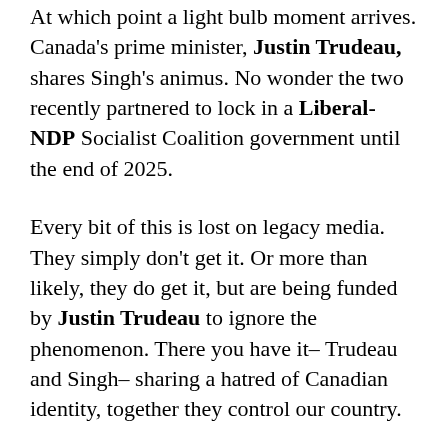At which point a light bulb moment arrives. Canada's prime minister, Justin Trudeau, shares Singh's animus. No wonder the two recently partnered to lock in a Liberal-NDP Socialist Coalition government until the end of 2025.
Every bit of this is lost on legacy media. They simply don't get it. Or more than likely, they do get it, but are being funded by Justin Trudeau to ignore the phenomenon. There you have it– Trudeau and Singh– sharing a hatred of Canadian identity, together they control our country.
In what other societies on earth do we find this spurious political dynamic? The answer, of course, is in no other country. Thus